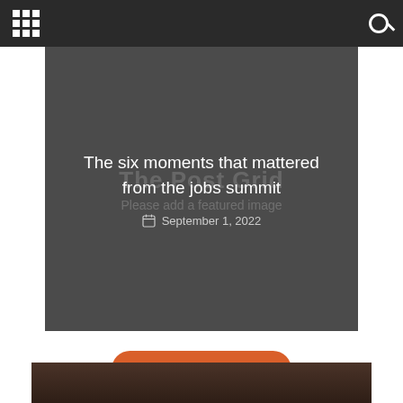Navigation bar with grid menu icon and search icon
[Figure (screenshot): Dark gray hero image area with watermark text 'The Post Grid' and 'Please add a featured image', containing article headline and date]
The six moments that mattered from the jobs summit
September 1, 2022
OUR FEEDS
[Figure (photo): Partial bottom image strip showing dark brownish-toned photo, cropped at page edge]